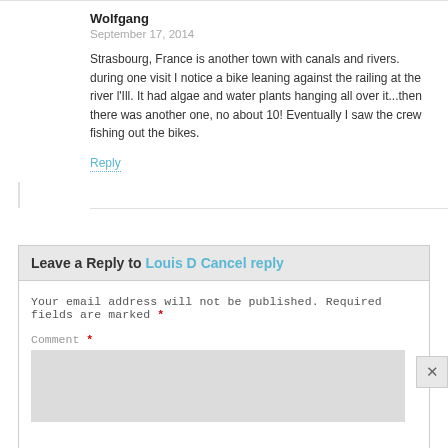Wolfgang
September 17, 2014
Strasbourg, France is another town with canals and rivers. during one visit I notice a bike leaning against the railing at the river l'Ill. It had algae and water plants hanging all over it...then there was another one, no about 10! Eventually I saw the crew fishing out the bikes.
Reply
Leave a Reply to Louis D Cancel reply
Your email address will not be published. Required fields are marked *
Comment *